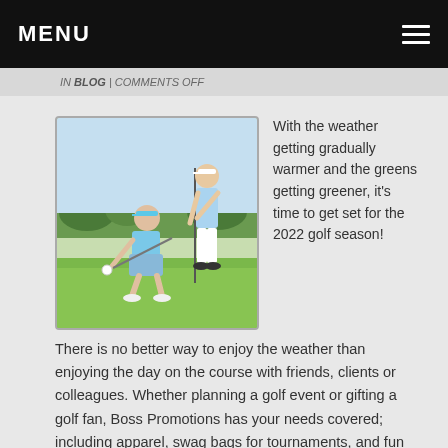MENU
IN BLOG | COMMENTS OFF
[Figure (photo): Two golfers on a putting green, one crouching to read the putt and one standing holding a flag pole. Both wearing light blue golf attire and white visors.]
With the weather getting gradually warmer and the greens getting greener, it’s time to get set for the 2022 golf season! There is no better way to enjoy the weather than enjoying the day on the course with friends, clients or colleagues. Whether planning a golf event or gifting a golf fan, Boss Promotions has your needs covered; including apparel, swag bags for tournaments, and fun prizes for raffles